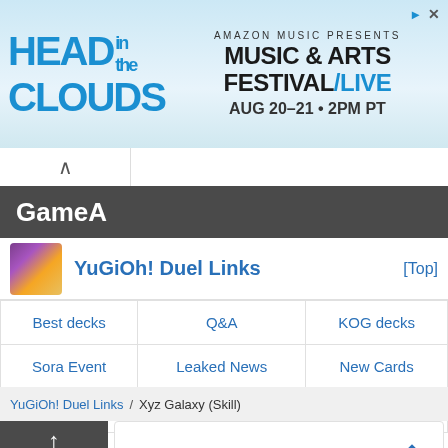[Figure (illustration): Amazon Music Presents - Head in the Clouds Music & Arts Festival / LIVE banner ad. AUG 20-21 • 2PM PT]
GameA
YuGiOh! Duel Links [Top]
| Best decks | Q&A | KOG decks |
| Sora Event | Leaked News | New Cards |
| Vrains | Game Mats | Icons |
YuGiOh! Duel Links / Xyz Galaxy (Skill)
[Figure (illustration): Ad: Time For a Trim? Hair Cuttery]
[Figure (illustration): Ad: Discover Homesense near you. Homesense]